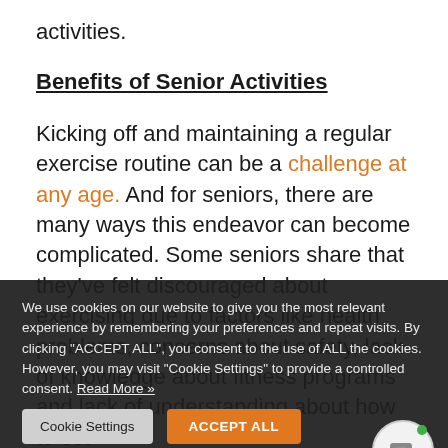activities.
Benefits of Senior Activities
Kicking off and maintaining a regular exercise routine can be a challenge at any age. And for seniors, there are many ways this endeavor can become complicated. Some seniors share that they've felt discouraged about exercising due to factors like health problems, concerns about safety, lack of knowledge about fitness programs and lack of understanding about how to set
We use cookies on our website to give you the most relevant experience by remembering your preferences and repeat visits. By clicking "ACCEPT ALL", you consent to the use of ALL the cookies. However, you may visit "Cookie Settings" to provide a controlled consent. Read More »